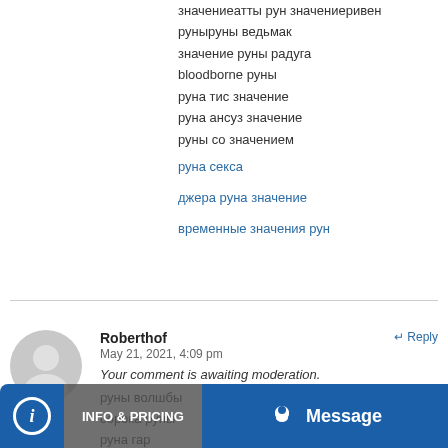значениеатты рун значениеривен
руныруны ведьмак
значение руны радуга
bloodborne руны
руна тис значение
руна ансуз значение
руны со значением
руна секса
джера руна значение
временные значения рун
Roberthof
May 21, 2021, 4:09 pm
Your comment is awaiting moderation.
руны волшбы
сорока руны
руна гар
корки руны
руны троба значение